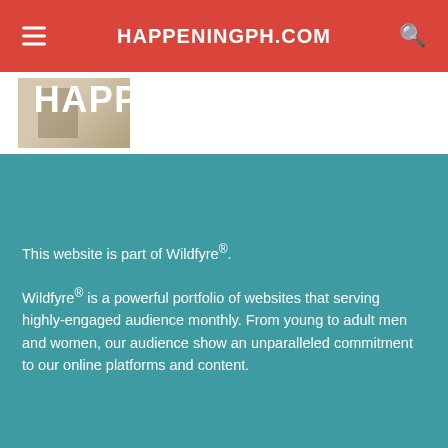HAPPENINGPH.COM
[Figure (photo): Thumbnail image of a person, partially visible on white background area]
HAPPENINGPH.COM
This website is part of Wildfyre®.
Wildfyre® is a powerful portfolio of websites that serving highly-engaged audience monthly. From young to adult men and women, our audience show an unparalleled commitment to our online platforms and content.